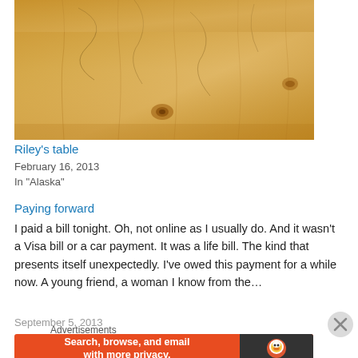[Figure (photo): Close-up photo of a light-colored wooden table surface with grain lines and knots visible]
Riley's table
February 16, 2013
In "Alaska"
Paying forward
I paid a bill tonight. Oh, not online as I usually do. And it wasn't a Visa bill or a car payment. It was a life bill. The kind that presents itself unexpectedly. I've owed this payment for a while now. A young friend, a woman I know from the…
September 5, 2013
Advertisements
[Figure (screenshot): DuckDuckGo advertisement banner: 'Search, browse, and email with more privacy. All in One Free App' on orange background with DuckDuckGo logo on dark right panel]